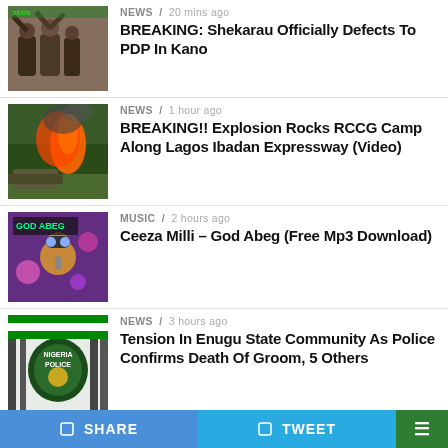[Figure (photo): People with hands raised, outdoor scene with banner]
NEWS / 20 mins ago
BREAKING: Shekarau Officially Defects To PDP In Kano
[Figure (photo): Fire and smoke explosion scene outdoors]
NEWS / 1 hour ago
BREAKING!! Explosion Rocks RCCG Camp Along Lagos Ibadan Expressway (Video)
[Figure (photo): Music album art - God Abeg by Ceeza Milli]
MUSIC / 2 hours ago
Ceeza Milli – God Abeg (Free Mp3 Download)
[Figure (photo): Nigeria Police sign/logo]
NEWS / 3 hours ago
Tension In Enugu State Community As Police Confirms Death Of Groom, 5 Others
[Figure (photo): Man wearing red cap, partial view]
NEWS / 3 hours ago
Kwankwaso Breaks Silence On 'Stepping Down
SHARE   TWEET